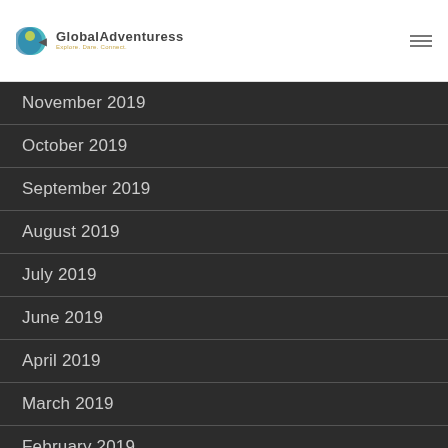Global Adventuress — Explore. Dare. Connect.
November 2019
October 2019
September 2019
August 2019
July 2019
June 2019
April 2019
March 2019
February 2019